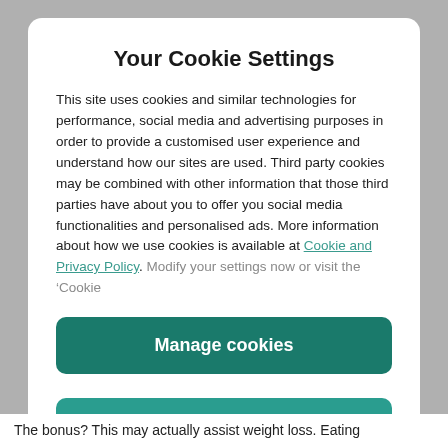Your Cookie Settings
This site uses cookies and similar technologies for performance, social media and advertising purposes in order to provide a customised user experience and understand how our sites are used. Third party cookies may be combined with other information that those third parties have about you to offer you social media functionalities and personalised ads. More information about how we use cookies is available at Cookie and Privacy Policy. Modify your settings now or visit the ‘Cookie
Manage cookies
Yes I accept
The bonus? This may actually assist weight loss. Eating